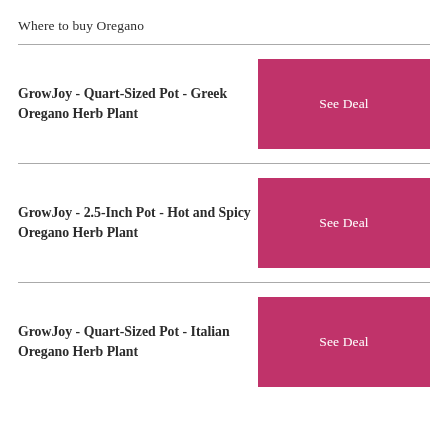Where to buy Oregano
GrowJoy - Quart-Sized Pot - Greek Oregano Herb Plant
See Deal
GrowJoy - 2.5-Inch Pot - Hot and Spicy Oregano Herb Plant
See Deal
GrowJoy - Quart-Sized Pot - Italian Oregano Herb Plant
See Deal